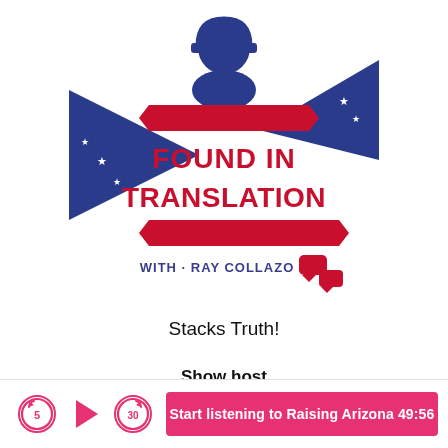[Figure (logo): Found In Translation podcast logo with Ray Collazo — shows a person with headphones, red ribbon banners, blue star-spangled triangles, and speech bubble icons. Text reads FOUND IN TRANSLATION WITH · RAY COLLAZO]
Stacks Truth!
Show host
About the show
Episodes
Where to listen
Start listening to Raising Arizona 49:56